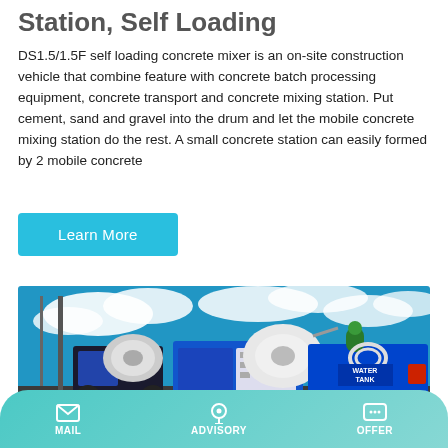Station, Self Loading
DS1.5/1.5F self loading concrete mixer is an on-site construction vehicle that combine feature with concrete batch processing equipment, concrete transport and concrete mixing station. Put cement, sand and gravel into the drum and let the mobile concrete mixing station do the rest. A small concrete station can easily formed by 2 mobile concrete
Learn More
[Figure (photo): Self-loading concrete mixer vehicles photographed outdoors against a blue sky with clouds. The blue and white machines with rotating drums and water tanks are visible.]
MAIL    ADVISORY    OFFER